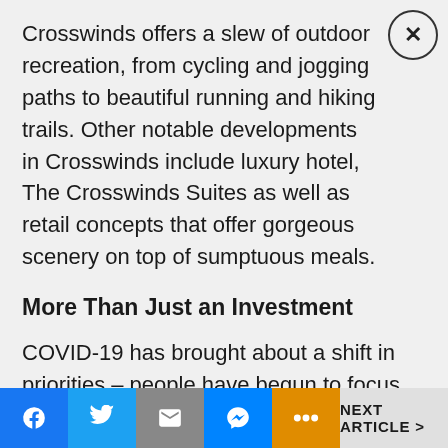Crosswinds offers a slew of outdoor recreation, from cycling and jogging paths to beautiful running and hiking trails. Other notable developments in Crosswinds include luxury hotel, The Crosswinds Suites as well as retail concepts that offer gorgeous scenery on top of sumptuous meals.
More Than Just an Investment
COVID-19 has brought about a shift in priorities – people have begun to focus more on enjoying life and living in the moment. This change in mindset extends to what properties people are choosing to invest in.
Facebook | Twitter | Mail | Messenger | More | NEXT ARTICLE >